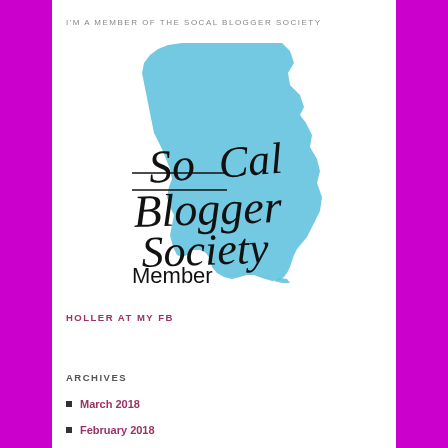I'M A MEMBER OF THE SOCAL BLOGGER SOCIETY
[Figure (logo): SoCal Blogger Society Member logo with California state shape in blue and stylized text overlay reading 'SoCal Blogger Society Member']
HOLLER AT MY FB
ARCHIVES
March 2018
February 2018